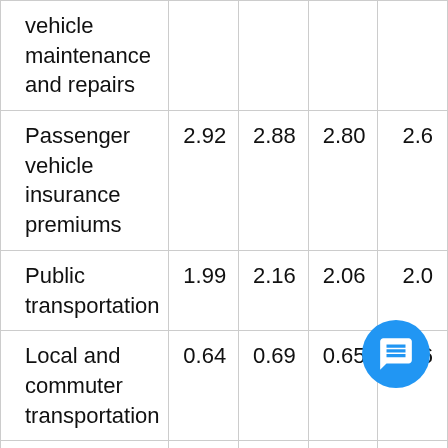| vehicle maintenance and repairs |  |  |  |  |
| Passenger vehicle insurance premiums | 2.92 | 2.88 | 2.80 | 2.6 |
| Public transportation | 1.99 | 2.16 | 2.06 | 2.0 |
| Local and commuter transportation | 0.64 | 0.69 | 0.65 | 0.6 |
| Intercity... | 1.22 | 1.24 | 1.20 | 1.2 |